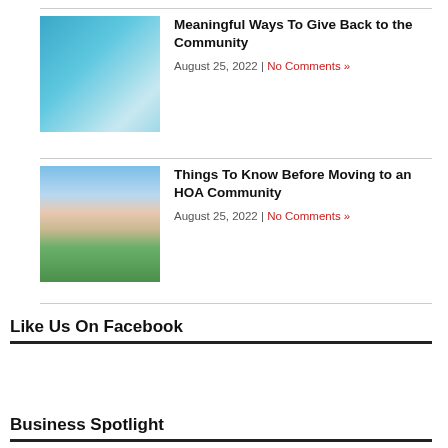[Figure (photo): Photo of volunteers in teal shirts working together]
Meaningful Ways To Give Back to the Community
August 25, 2022 | No Comments »
[Figure (photo): Aerial photo of an HOA community at sunset with green lawns and a castle-like building]
Things To Know Before Moving to an HOA Community
August 25, 2022 | No Comments »
Like Us On Facebook
Business Spotlight